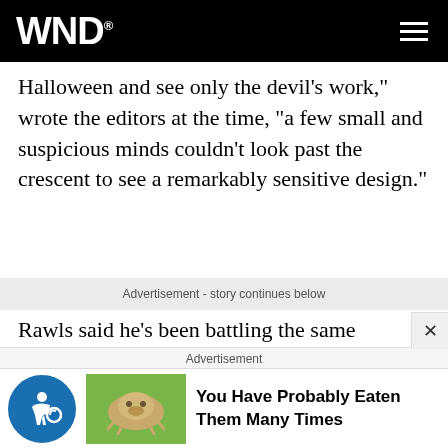WND
Halloween and see only the devil's work," wrote the editors at the time, "a few small and suspicious minds couldn't look past the crescent to see a remarkably sensitive design."
Advertisement - story continues below
Rawls said he's been battling the same mentality for the past year and a half. He plans to be at a meeting Saturday when the design will be submitted for final approval.
"I'll be there, demanding that this desecration of sacred
Advertisement
You Have Probably Eaten Them Many Times